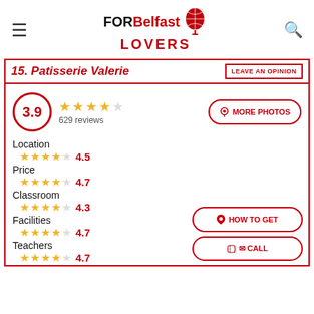FOR Belfast LOVERS
15. Patisserie Valerie
LEAVE AN OPINION
3.9 — 629 reviews
MORE PHOTOS
Location 4.5
Price 4.7
Classroom 4.3
Facilities 4.7
Teachers 4.7
HOW TO GET